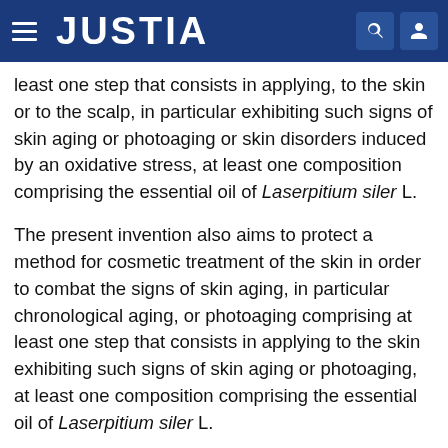JUSTIA
least one step that consists in applying, to the skin or to the scalp, in particular exhibiting such signs of skin aging or photoaging or skin disorders induced by an oxidative stress, at least one composition comprising the essential oil of Laserpitium siler L.
The present invention also aims to protect a method for cosmetic treatment of the skin in order to combat the signs of skin aging, in particular chronological aging, or photoaging comprising at least one step that consists in applying to the skin exhibiting such signs of skin aging or photoaging, at least one composition comprising the essential oil of Laserpitium siler L.
The present invention also aims to protect a cosmetic treatment method in order to prevent and/or treat skin disorders induced by an oxidative stress, comprising at least one step that consists in administering the